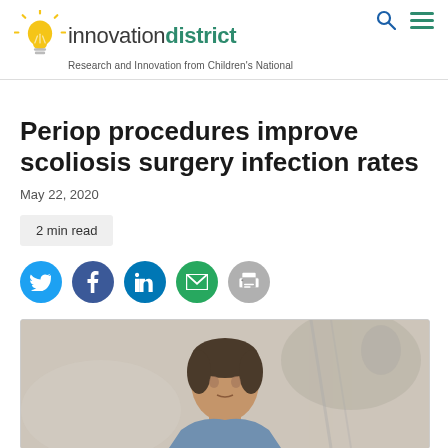innovationdistrict — Research and Innovation from Children's National
Periop procedures improve scoliosis surgery infection rates
May 22, 2020
2 min read
[Figure (infographic): Social sharing icons: Twitter (light blue circle), Facebook (dark blue circle), LinkedIn (blue circle), Email (green circle), Print (gray circle)]
[Figure (photo): A male doctor or surgeon looking seriously at a patient, clinical/hospital setting, blurred background]